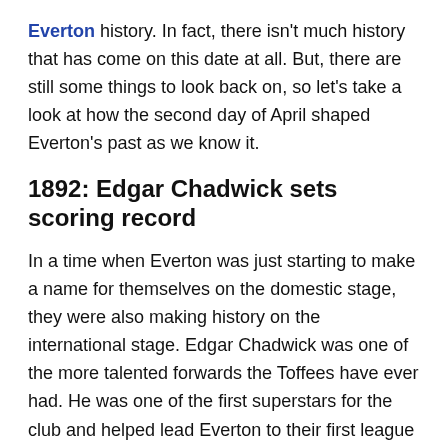Everton history. In fact, there isn't much history that has come on this date at all. But, there are still some things to look back on, so let's take a look at how the second day of April shaped Everton's past as we know it.
1892: Edgar Chadwick sets scoring record
In a time when Everton was just starting to make a name for themselves on the domestic stage, they were also making history on the international stage. Edgar Chadwick was one of the more talented forwards the Toffees have ever had. He was one of the first superstars for the club and helped lead Everton to their first league title in their history. Chadwick scored 97 goals in 270 appearances, a number that stands up near the top with some of the best forwards in the club's history.